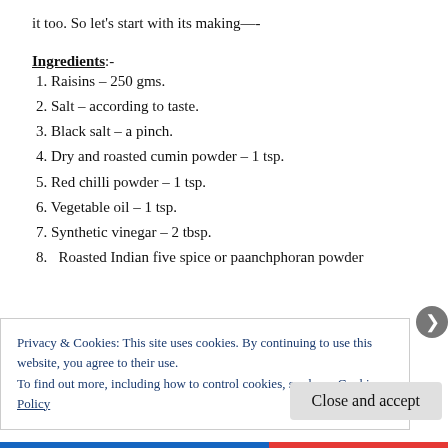it too. So let’s start with its making—-
Ingredients:-
1. Raisins – 250 gms.
2. Salt – according to taste.
3. Black salt – a pinch.
4. Dry and roasted cumin powder – 1 tsp.
5. Red chilli powder – 1 tsp.
6. Vegetable oil – 1 tsp.
7. Synthetic vinegar – 2 tbsp.
8.   Roasted Indian five spice or paanchphoran powder
Privacy & Cookies: This site uses cookies. By continuing to use this website, you agree to their use.
To find out more, including how to control cookies, see here: Cookie Policy
Close and accept